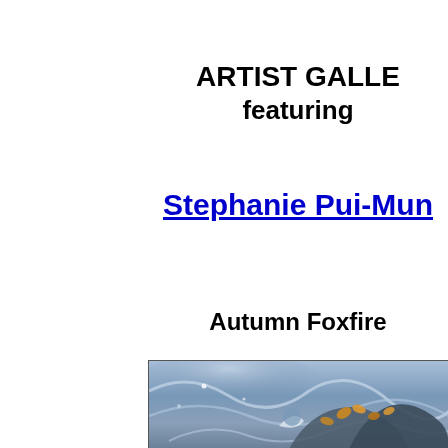ARTIST GALLERY featuring
Stephanie Pui-Mun
Autumn Foxfire
[Figure (illustration): Fantasy illustration in blue tones showing flowing curves, autumn leaves, and a crescent moon shape. The image is partially cropped at the bottom of the page.]